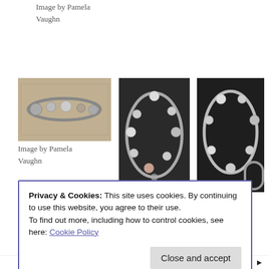Image by Pamela Vaughn
[Figure (photo): Charm bracelet with silver charms on a light background]
Image by Pamela Vaughn
[Figure (photo): Charm bracelets with many silver and rose gold charms on dark fabric background]
Image by Edwina Navid
[Figure (photo): Charm bracelets with silver and cross charms on dark fabric background]
Image by Edwina Navid
Privacy & Cookies: This site uses cookies. By continuing to use this website, you agree to their use.
To find out more, including how to control cookies, see here: Cookie Policy
Image by Sheila
Image by Sheila